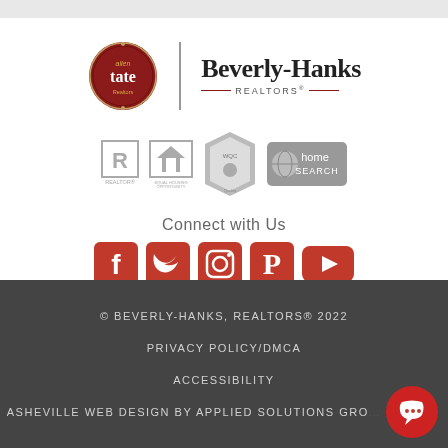[Figure (logo): Allen Tate Realtors and Beverly-Hanks REALTORS combined logo]
[Figure (logo): Realtor, Equal Housing Opportunity, WQC, and Home Search certification badges]
Connect with Us
[Figure (infographic): Social media icons: Facebook, Twitter, Instagram, Pinterest, YouTube in red]
© BEVERLY-HANKS, REALTORS® 2022
PRIVACY POLICY/DMCA
ACCESSIBILITY
ASHEVILLE WEB DESIGN BY APPLIED SOLUTIONS GROUP